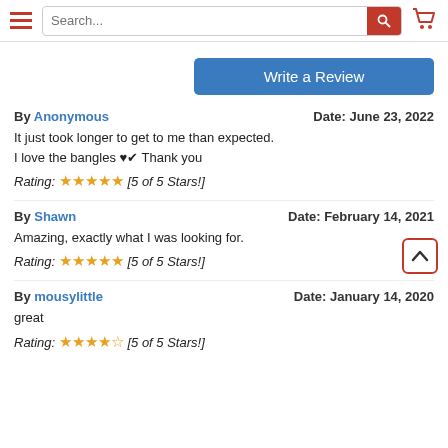Search... [navbar with hamburger menu, search bar, cart icon]
Write a Review
By Anonymous   Date: June 23, 2022
It just took longer to get to me than expected.
I love the bangles ♥✔ Thank you
Rating: ★★★★★ [5 of 5 Stars!]
By Shawn   Date: February 14, 2021
Amazing, exactly what I was looking for.
Rating: ★★★★★ [5 of 5 Stars!]
By mousylittle   Date: January 14, 2020
great
Rating: ★★★★★ [5 of 5 Stars!]